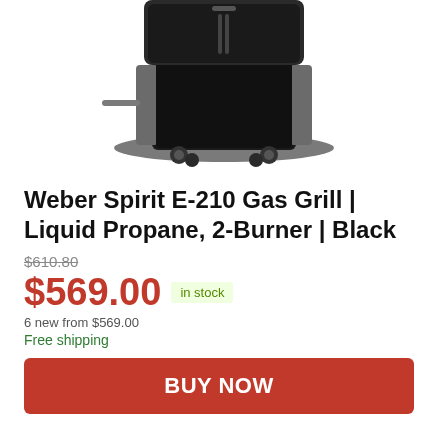[Figure (photo): Product photo of Weber Spirit E-210 Gas Grill in black with grey cart base and caster wheels, showing bottom portion of the grill]
Weber Spirit E-210 Gas Grill | Liquid Propane, 2-Burner | Black
$610.80 (strikethrough original price)
$569.00  in stock
6 new from $569.00
Free shipping
BUY NOW